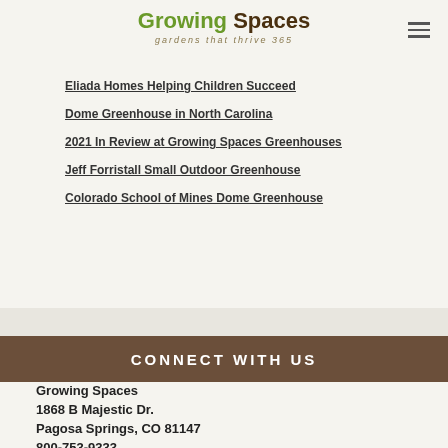[Figure (logo): Growing Spaces logo with tagline 'gardens that thrive 365']
Eliada Homes Helping Children Succeed
Dome Greenhouse in North Carolina
2021 In Review at Growing Spaces Greenhouses
Jeff Forristall Small Outdoor Greenhouse
Colorado School of Mines Dome Greenhouse
CONNECT WITH US
Growing Spaces
1868 B Majestic Dr.
Pagosa Springs, CO 81147
800-753-9333
info@growingspaces.com